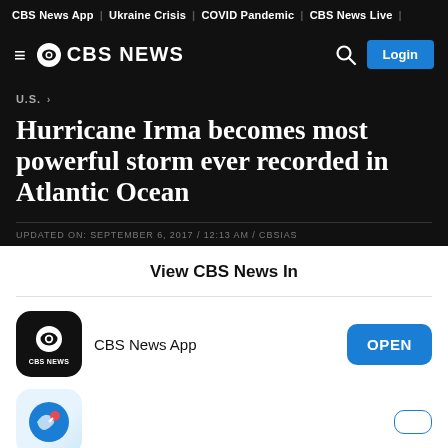CBS News App | Ukraine Crisis | COVID Pandemic | CBS News Live
[Figure (logo): CBS News logo with hamburger menu, eye symbol, CBS NEWS text, search icon, and Login button]
U.S. >
Hurricane Irma becomes most powerful storm ever recorded in Atlantic Ocean
UPDATED ON: SEPTEMBER 6, 2017 / 12:13 AM / CBSIAS
View CBS News In
[Figure (logo): CBS News App icon - black rounded square with CBS eye logo and CBS NEWS text]
CBS News App
OPEN